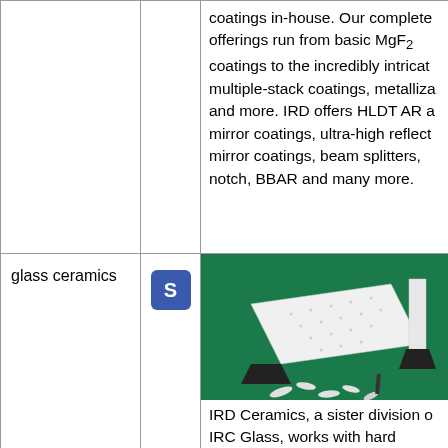coatings in-house. Our complete offerings run from basic MgF2 coatings to the incredibly intricate multiple-stack coatings, metallizations and more. IRD offers HLDT AR and mirror coatings, ultra-high reflectance mirror coatings, beam splitters, notch, BBAR and many more.
glass ceramics
[Figure (photo): Optical glass and ceramic components including flat substrates and prisms arranged on a dark green background]
IRD Ceramics, a sister division of IRC Glass, works with hard